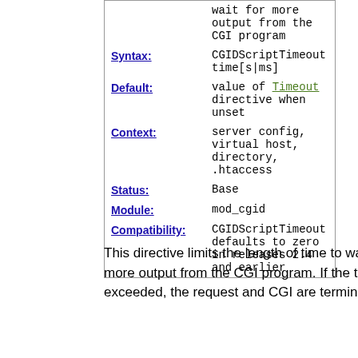| Field | Value |
| --- | --- |
|  | wait for more output from the CGI program |
| Syntax: | CGIDScriptTimeout time[s|ms] |
| Default: | value of Timeout directive when unset |
| Context: | server config, virtual host, directory, .htaccess |
| Status: | Base |
| Module: | mod_cgid |
| Compatibility: | CGIDScriptTimeout defaults to zero in releases 2.4 and earlier |
This directive limits the length of time to wait for more output from the CGI program. If the time is exceeded, the request and CGI are terminated.